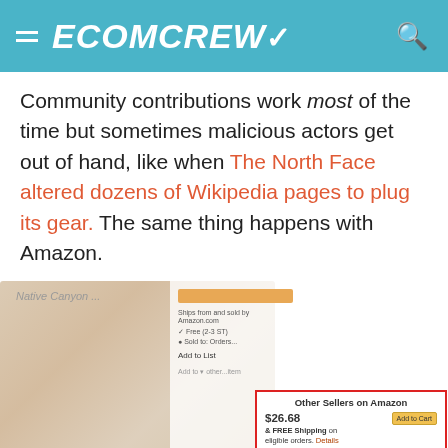ECOMCREW
Community contributions work most of the time but sometimes malicious actors get out of hand, like when The North Face altered dozens of Wikipedia pages to plug its gear. The same thing happens with Amazon.
[Figure (screenshot): Screenshot of an Amazon product page showing a historical painting image on the left side, and on the right side an 'Other Sellers on Amazon' panel with prices $26.68 and $32.65, both with 'Add to Cart' buttons, and FREE Shipping details.]